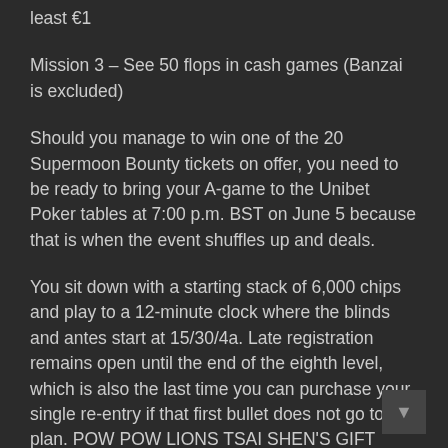least €1
Mission 3 – See 50 flops in cash games (Banzai is excluded)
Should you manage to win one of the 20 Supermoon Bounty tickets on offer, you need to be ready to bring your A-game to the Unibet Poker tables at 7:00 p.m. BST on June 5 because that is when the event shuffles up and deals.
You sit down with a starting stack of 6,000 chips and play to a 12-minute clock where the blinds and antes start at 15/30/4a. Late registration remains open until the end of the eighth level, which is also the last time you can purchase your single re-entry if that first bullet does not go to plan. POW POW LIONS TSAI SHEN'S GIFT STAMPEDE FURY II LUCKY DUCK Day 1 concludes after the 22nd level and resumes on June 6 with an 18-minute clock. Everyone begins the Supermoon Bounty with a €117.50 bounty on their head. Eliminate an opponent and you instantly win 50% of that bounty with the remaining 50% going onto your own bounty making you more